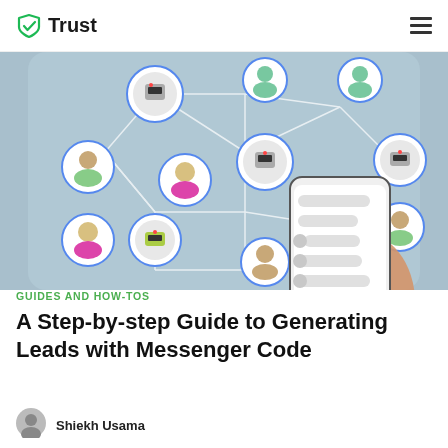Trust
[Figure (illustration): Illustration of chatbot network: multiple circular avatars (robots and human figures) connected by lines in a network pattern over a blue-grey background, with a hand holding a smartphone showing a chat interface in the foreground.]
GUIDES AND HOW-TOS
A Step-by-step Guide to Generating Leads with Messenger Code
Shiekh Usama